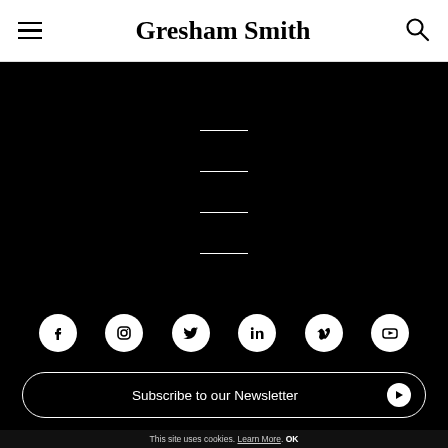Gresham Smith
[Figure (illustration): Black background navigation area with four horizontal white lines evenly spaced, representing a loading or decorative menu element]
[Figure (infographic): Row of six social media icons (Facebook, Instagram, Twitter, LinkedIn, Vimeo, YouTube) as white circular icons on black background]
Subscribe to our Newsletter
This site uses cookies. Learn More. OK